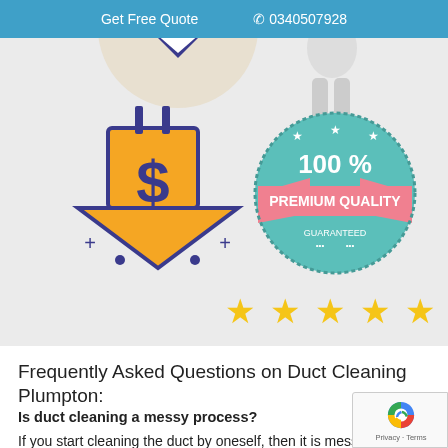Get Free Quote  0340507928
[Figure (infographic): Infographic section showing a dollar sign downward arrow icon (price reduction) on the left with plus signs, and a '100% Premium Quality Guaranteed' teal badge with a pink ribbon on the right, plus five gold stars below the badge. Partial character/person illustrations visible at the top.]
Frequently Asked Questions on Duct Cleaning Plumpton:
Is duct cleaning a messy process?
If you start cleaning the duct by oneself, then it is messy,